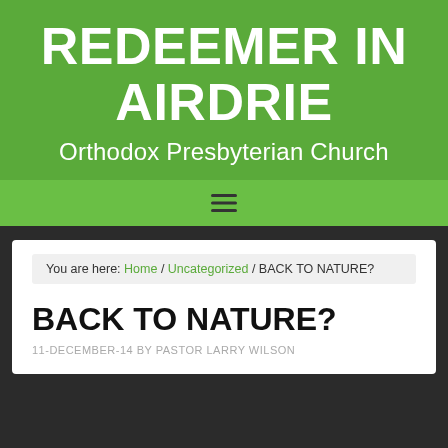REDEEMER IN AIRDRIE
Orthodox Presbyterian Church
You are here: Home / Uncategorized / BACK TO NATURE?
BACK TO NATURE?
11-DECEMBER-14 BY PASTOR LARRY WILSON